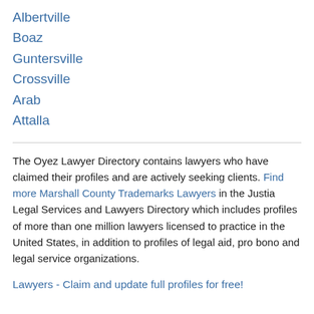Albertville
Boaz
Guntersville
Crossville
Arab
Attalla
The Oyez Lawyer Directory contains lawyers who have claimed their profiles and are actively seeking clients. Find more Marshall County Trademarks Lawyers in the Justia Legal Services and Lawyers Directory which includes profiles of more than one million lawyers licensed to practice in the United States, in addition to profiles of legal aid, pro bono and legal service organizations.
Lawyers - Claim and update full profiles for free!